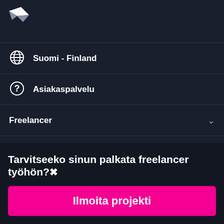[Figure (logo): Freelancer.com hummingbird/arrow logo in white on dark background]
Suomi - Finland
Asiakaspalvelu
Freelancer
Tietoa
Ehdot
Tarvitseeko sinun palkata freelancer työhön?
Ilmoita projekti